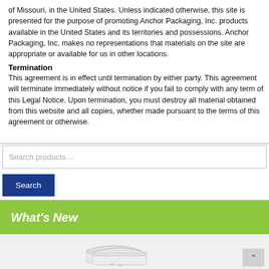of Missouri, in the United States.  Unless indicated otherwise, this site is presented for the purpose of promoting Anchor Packaging, Inc. products available in the United States and its territories and possessions.  Anchor Packaging, Inc. makes no representations that materials on the site are appropriate or available for us in other locations.
Termination
This agreement is in effect until termination by either party.  This agreement will terminate immediately without notice if you fail to comply with any term of this Legal Notice.  Upon termination, you must destroy all material obtained from this website and all copies, whether made pursuant to the terms of this agreement or otherwise.
Search products...
Search
What's New
[Figure (photo): White foam clamshell food containers stacked together]